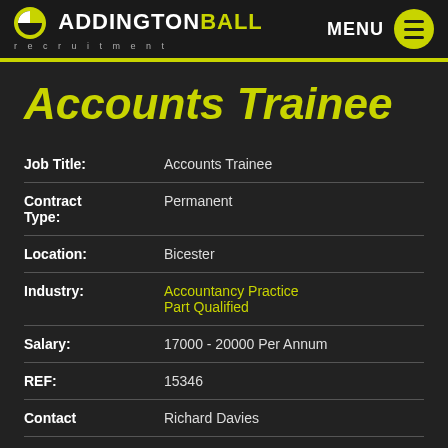ADDINGTONBALL recruitment — MENU
Accounts Trainee
| Field | Value |
| --- | --- |
| Job Title: | Accounts Trainee |
| Contract Type: | Permanent |
| Location: | Bicester |
| Industry: | Accountancy Practice Part Qualified |
| Salary: | 17000 - 20000 Per Annum |
| REF: | 15346 |
| Contact | Richard Davies |